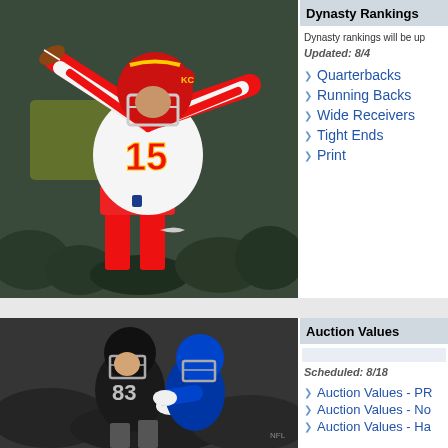[Figure (photo): Kansas City Chiefs quarterback #15 Patrick Mahomes throwing a pass, wearing white uniform with red trim]
Dynasty Rankings
Dynasty rankings will be up
Updated: 8/4
Quarterbacks
Running Backs
Wide Receivers
Tight Ends
Print
[Figure (photo): Oakland Raiders player #83 Darren Waller running with football, being tackled, wearing black uniform]
Auction Values
Scheduled: 8/18
Auction Values - PR
Auction Values - No
Auction Values - Ha